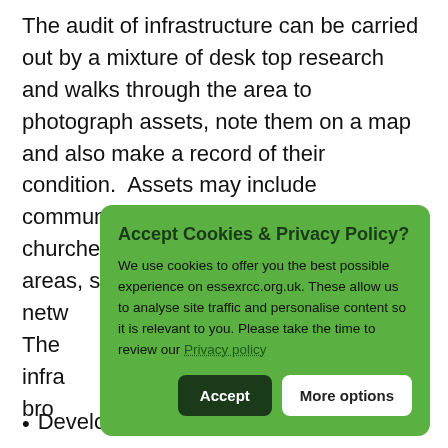The audit of infrastructure can be carried out by a mixture of desk top research and walks through the area to photograph assets, note them on a map and also make a record of their condition.  Assets may include community centres/village halls, churches, recreation grounds, play areas, sports facilities, allo[tments, walking/cycling routes,] netw[ork of footpaths and green spaces]. The[re are several ways in which the] infra[structure audit can be put together;] bro[ader community engagement can] The[ audit should look at...] sho[uld include...]
[Figure (screenshot): Cookie consent popup with green background overlaying the main text. Title: 'Accept Cookies & Privacy Policy?' Body text: 'We use cookies to offer you the best possible experience on essexrcc.org.uk. These allow us to analyse site traffic and personalise content so it is relevant to you. Please take the time to review our Privacy policy'. Two buttons: 'Accept' (dark green) and 'More options' (white).]
Development boundaries